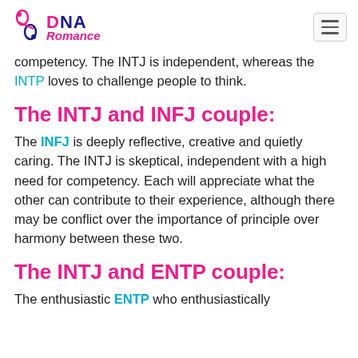DNA Romance
competency. The INTJ is independent, whereas the INTP loves to challenge people to think.
The INTJ and INFJ couple:
The INFJ is deeply reflective, creative and quietly caring. The INTJ is skeptical, independent with a high need for competency. Each will appreciate what the other can contribute to their experience, although there may be conflict over the importance of principle over harmony between these two.
The INTJ and ENTP couple:
The enthusiastic ENTP who enthusiastically